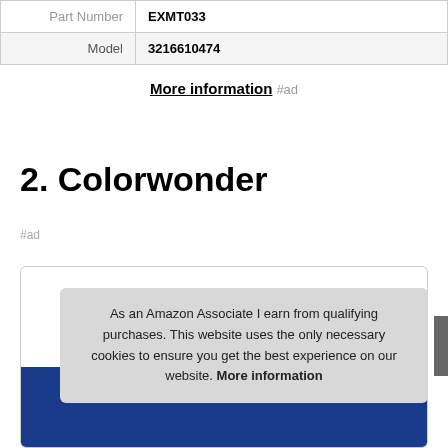| Part Number | EXMT033 |
| --- | --- |
| Model | 3216610474 |
More information #ad
2. Colorwonder
#ad
As an Amazon Associate I earn from qualifying purchases. This website uses the only necessary cookies to ensure you get the best experience on our website. More information